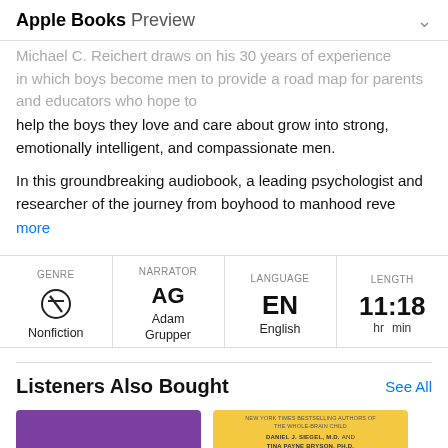Apple Books Preview
Michael C. Reichert draws on his 30 years of experience in which boys become men to provide a road map for parents and educators who hope to help the boys they love and care about grow into strong, emotionally intelligent, and compassionate men.
In this groundbreaking audiobook, a leading psychologist and researcher of the journey from boyhood to manhood reve more
| GENRE | NARRATOR | LANGUAGE | LENGTH |
| --- | --- | --- | --- |
| Nonfiction | Adam Grupper | English | 11:18 hr min |
Listeners Also Bought
See All
[Figure (illustration): Two book covers: a purple book cover on the left, and a yellow book cover on the right with text 'THE' in blue letters and authors Daniel J. Siegel M.D. and Tina Payne Bryson Ph.D.]